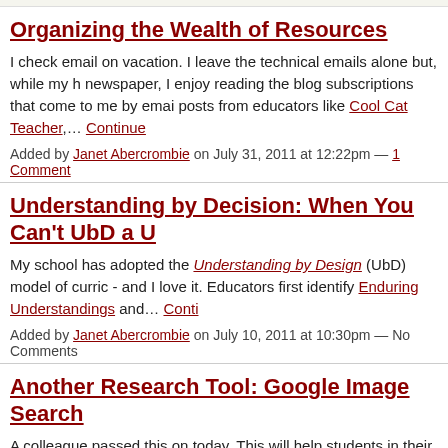Organizing the Wealth of Resources
I check email on vacation. I leave the technical emails alone but, while my h newspaper, I enjoy reading the blog subscriptions that come to me by emai posts from educators like Cool Cat Teacher,… Continue
Added by Janet Abercrombie on July 31, 2011 at 12:22pm — 1 Comment
Understanding by Decision: When You Can't UbD a U
My school has adopted the Understanding by Design (UbD) model of curric - and I love it. Educators first identify Enduring Understandings and… Conti
Added by Janet Abercrombie on July 10, 2011 at 10:30pm — No Comments
Another Research Tool: Google Image Search
A colleague passed this on today. This will help students in their research a media source.
I tried it with a couple images. I found matches, but couldn't identify the orig is your experience with it?
[Figure (screenshot): Google 'Search by Image' interface screenshot with Google logo on dark background and 'Sign in to chat!' button]